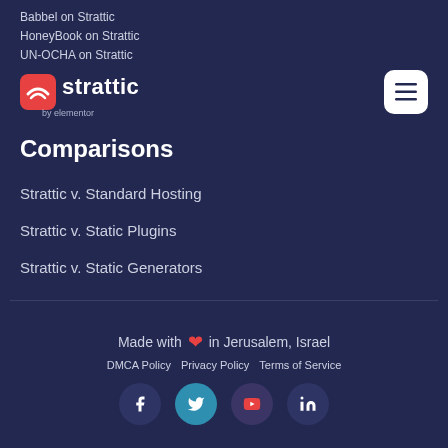Babbel on Strattic
Honeybook on Strattic
UN-OCHA on Strattic
by elementor
[Figure (logo): Strattic logo with red icon and white text, hamburger menu button on right]
Comparisons
Strattic v. Standard Hosting
Strattic v. Static Plugins
Strattic v. Static Generators
Made with ❤ in Jerusalem, Israel
DMCA Policy   Privacy Policy   Terms of Service